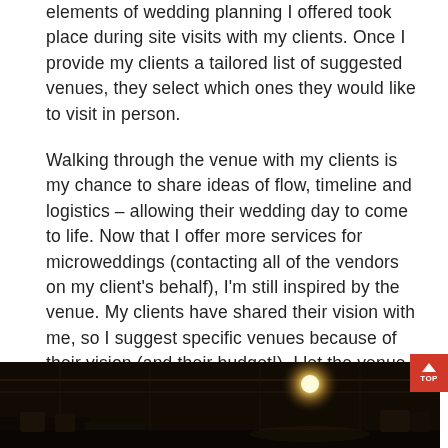elements of wedding planning I offered took place during site visits with my clients. Once I provide my clients a tailored list of suggested venues, they select which ones they would like to visit in person.
Walking through the venue with my clients is my chance to share ideas of flow, timeline and logistics – allowing their wedding day to come to life. Now that I offer more services for microweddings (contacting all of the vendors on my client's behalf), I'm still inspired by the venue. My clients have shared their vision with me, so I suggest specific venues because of their vision (and their budget!). I let the venue inspire ideas of what's possible!
[Figure (photo): Dark photograph of a wedding venue interior, dimly lit with warm ambient lighting and a glowing light source visible in the background.]